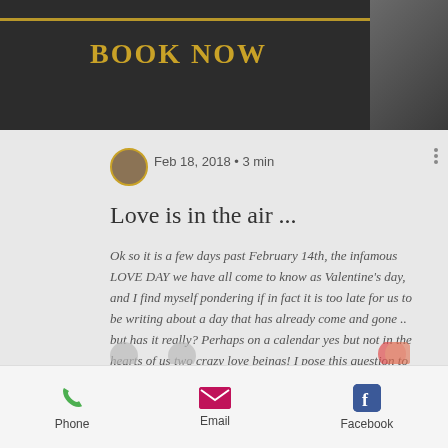BOOK NOW
Feb 18, 2018 • 3 min
Love is in the air ...
Ok so it is a few days past February 14th, the infamous LOVE DAY we have all come to know as Valentine's day, and I find myself pondering if in fact it is too late for us to be writing about a day that has already come and gone .. but has it really? Perhaps on a calendar yes but not in the hearts of us two crazy love beings! I pose this question to all of you "love-hearted" ones reading our blog and truly wonder if there are at least a few of you out there that share the very
Phone  Email  Facebook